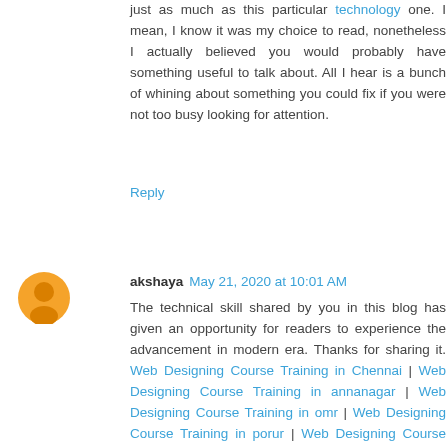just as much as this particular technology one. I mean, I know it was my choice to read, nonetheless I actually believed you would probably have something useful to talk about. All I hear is a bunch of whining about something you could fix if you were not too busy looking for attention.
Reply
akshaya May 21, 2020 at 10:01 AM
The technical skill shared by you in this blog has given an opportunity for readers to experience the advancement in modern era. Thanks for sharing it. Web Designing Course Training in Chennai | Web Designing Course Training in annanagar | Web Designing Course Training in omr | Web Designing Course Training in porur | Web Designing Course Training in tambaram | Web Designing Course Training in velachery
Reply
subha June 9, 2020 at 8:20 AM